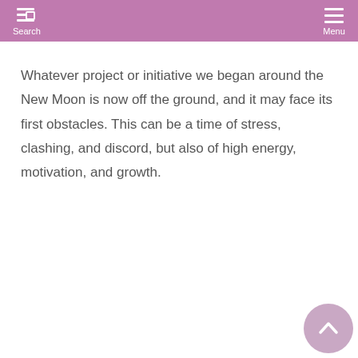Search  Menu
Whatever project or initiative we began around the New Moon is now off the ground, and it may face its first obstacles. This can be a time of stress, clashing, and discord, but also of high energy, motivation, and growth.